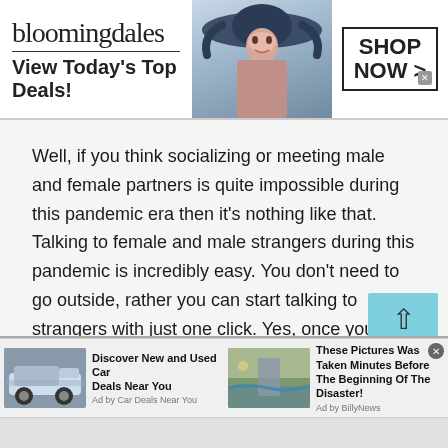[Figure (screenshot): Bloomingdale's advertisement banner: 'View Today's Top Deals!' with a model wearing a wide-brim hat, and a 'SHOP NOW >' button]
Well, if you think socializing or meeting male and female partners is quite impossible during this pandemic era then it's nothing like that. Talking to female and male strangers during this pandemic is incredibly easy. You don't need to go outside, rather you can start talking to strangers with just one click. Yes, once you start talking to strangers in Yemen at the Talkwithstranger app you will never feel alone. It is possible to create happy moments even while talking to strangers online. There are so many fantastic features available at TWS that keep you
[Figure (screenshot): Two bottom advertisement items: 'Discover New and Used Car Deals Near You' by Car Deals Near You, and 'These Pictures Was Taken Minutes Before The Beginning Of The Disaster!' by Ad by BillyNews]